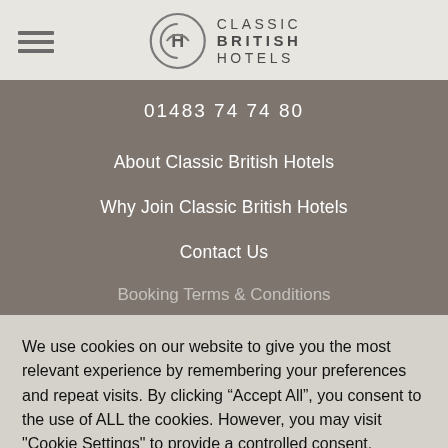[Figure (logo): Classic British Hotels logo with circular CH monogram and text CLASSIC BRITISH HOTELS]
01483 74 74 80
About Classic British Hotels
Why Join Classic British Hotels
Contact Us
Booking Terms & Conditions
We use cookies on our website to give you the most relevant experience by remembering your preferences and repeat visits. By clicking "Accept All", you consent to the use of ALL the cookies. However, you may visit "Cookie Settings" to provide a controlled consent.
Cookie Settings | Accept All